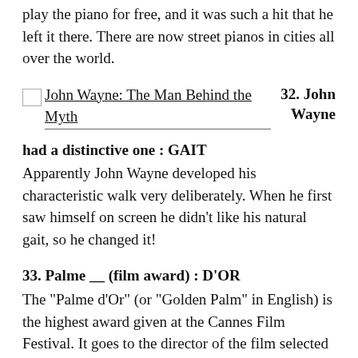play the piano for free, and it was such a hit that he left it there. There are now street pianos in cities all over the world.
[Figure (illustration): Small broken image placeholder icon followed by linked text 'John Wayne: The Man Behind the Myth' with '32. John Wayne' displayed to the right in bold]
had a distinctive one : GAIT
Apparently John Wayne developed his characteristic walk very deliberately. When he first saw himself on screen he didn’t like his natural gait, so he changed it!
33. Palme __ (film award) : D’OR
The “Palme d’Or” (or “Golden Palm” in English) is the highest award given at the Cannes Film Festival. It goes to the director of the film selected as the best shown at the festival that year. The palm was selected as an emblem for the award as there is a palm featured on the coat of arms of the Commune